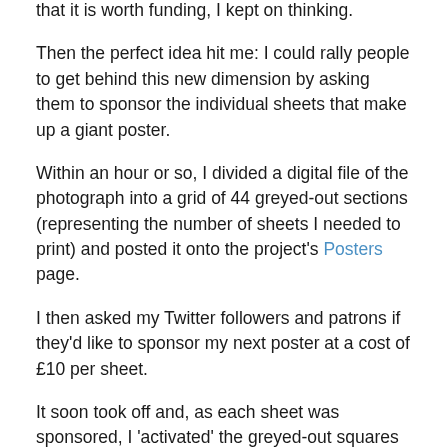that it is worth funding, I kept on thinking.
Then the perfect idea hit me: I could rally people to get behind this new dimension by asking them to sponsor the individual sheets that make up a giant poster.
Within an hour or so, I divided a digital file of the photograph into a grid of 44 greyed-out sections (representing the number of sheets I needed to print) and posted it onto the project's Posters page.
I then asked my Twitter followers and patrons if they'd like to sponsor my next poster at a cost of £10 per sheet.
It soon took off and, as each sheet was sponsored, I 'activated' the greyed-out squares to make it into a more engaging experience.
Within just a few days, all 44 sheets were sponsored and